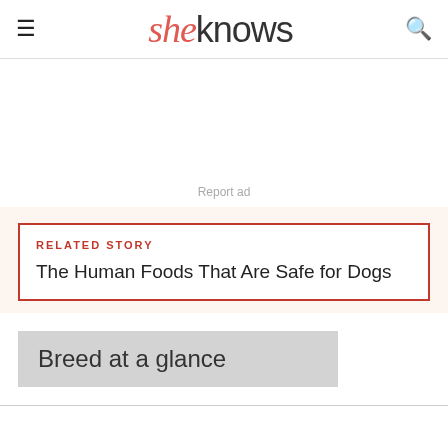sheknows
Report ad
RELATED STORY
The Human Foods That Are Safe for Dogs
Breed at a glance